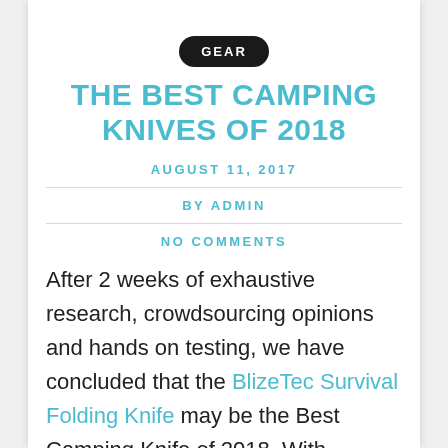GEAR
THE BEST CAMPING KNIVES OF 2018
AUGUST 11, 2017
BY ADMIN
NO COMMENTS
After 2 weeks of exhaustive research, crowdsourcing opinions and hands on testing, we have concluded that the BlizeTec Survival Folding Knife may be the Best Camping Knife of 2018. With